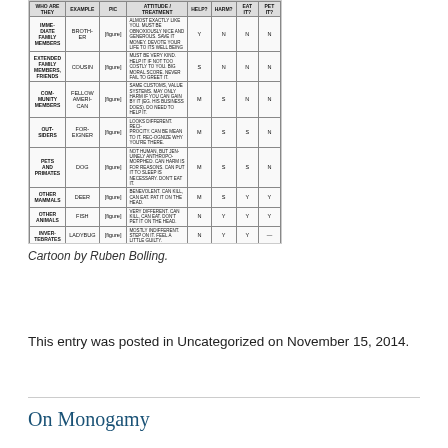[Figure (table-as-image): Cartoon table by Ruben Bolling showing categories of beings (Immediate Family Members, Extended Family Members/Friends, Community Members, Out-Siders, Pets and Primates, Other Mammals, Other Animals, Invertebrates, Plants) with columns for example, picture, attitude description, and Y/N columns. Values include Y, N, S, M markers.]
Cartoon by Ruben Bolling.
This entry was posted in Uncategorized on November 15, 2014.
On Monogamy